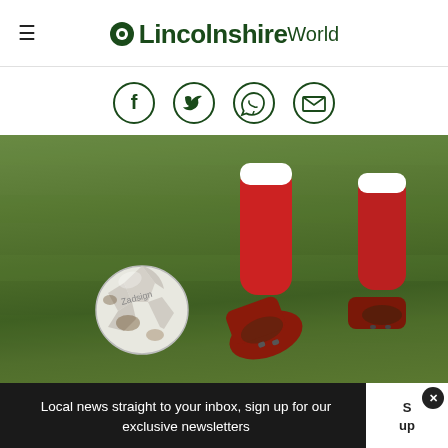OLincolnshireWorld
[Figure (infographic): Social sharing icons: Facebook, Twitter, WhatsApp, Email — dark green outlined circles]
[Figure (photo): Close-up photo of a footballer in red socks and muddy red boots kicking a white football on a green grass pitch. Two pairs of legs visible.]
Local news straight to your inbox, sign up for our exclusive newsletters
S up